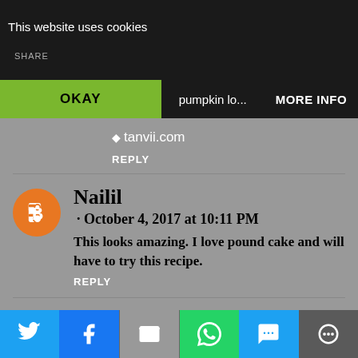This website uses cookies
OKAY   MORE INFO
▶ tanvii.com
REPLY
Nailil
· October 4, 2017 at 10:11 PM
This looks amazing. I love pound cake and will have to try this recipe.
REPLY
Unknown
· October 4, 2017 at 10:50 PM
Twitter Facebook Email WhatsApp SMS More